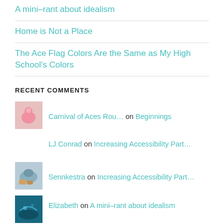A mini-rant about idealism
Home is Not a Place
The Ace Flag Colors Are the Same as My High School's Colors
RECENT COMMENTS
Carnival of Aces Rou… on Beginnings
LJ Conrad on Increasing Accessibility Part…
Sennkestra on Increasing Accessibility Part…
Elizabeth on A mini-rant about idealism